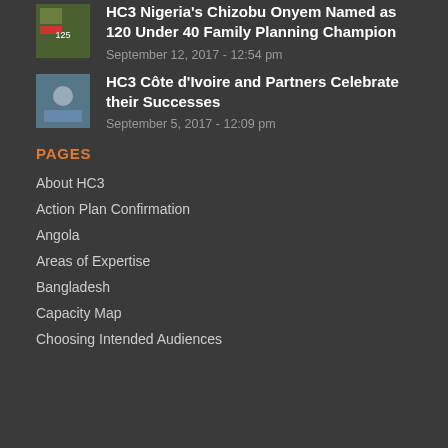HC3 Nigeria's Chizobu Onyem Named as 120 Under 40 Family Planning Champion
September 12, 2017 - 12:54 pm
HC3 Côte d'Ivoire and Partners Celebrate their Successes
September 5, 2017 - 12:09 pm
PAGES
About HC3
Action Plan Confirmation
Angola
Areas of Expertise
Bangladesh
Capacity Map
Choosing Intended Audiences